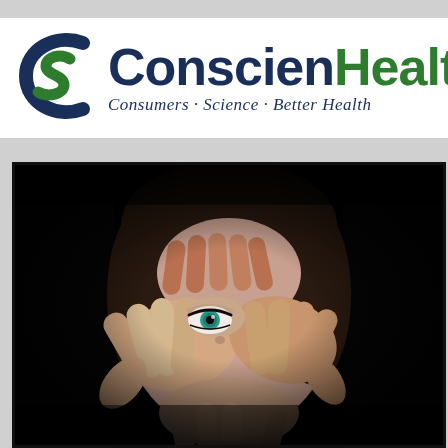[Figure (logo): ConscienHealth logo with stylized CS icon in green and navy, text 'ConscienHealth' with tagline 'Consumers · Science · Better Health']
[Figure (photo): Dark dramatic photo of a woman's face being covered by multiple hands, with one blue-green eye visible, conveying distress or fear]